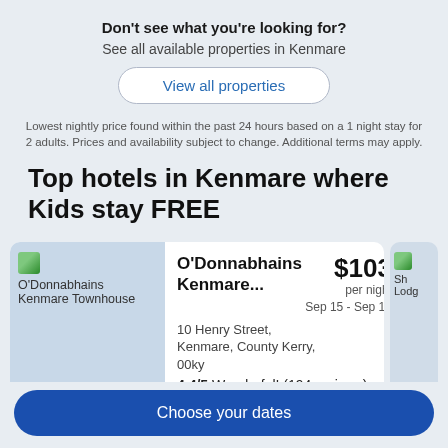Don't see what you're looking for?
See all available properties in Kenmare
View all properties
Lowest nightly price found within the past 24 hours based on a 1 night stay for 2 adults. Prices and availability subject to change. Additional terms may apply.
Top hotels in Kenmare where Kids stay FREE
O'Donnabhains Kenmare... $103 per night Sep 15 - Sep 16
10 Henry Street, Kenmare, County Kerry, 00ky
4.4/5 Wonderful! (194 reviews)
Choose your dates